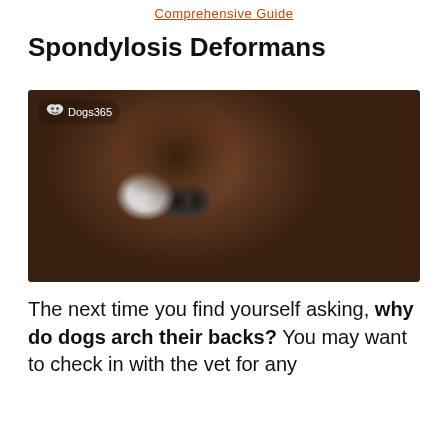Comprehensive Guide
Spondylosis Deformans
[Figure (photo): Close-up photo of a Cavalier King Charles Spaniel with brown and white fur, resting its head on a knitted blanket. The image has a Dogs365 watermark in the top left corner.]
The next time you find yourself asking, why do dogs arch their backs? You may want to check in with the vet for any